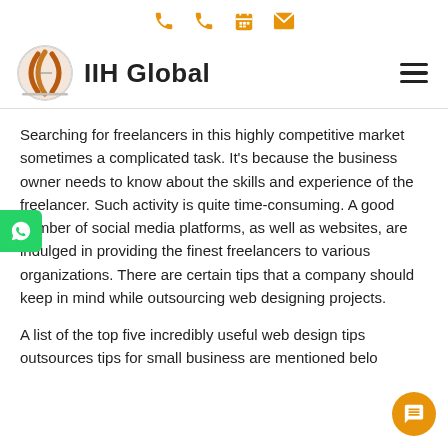IIH Global — navigation bar with phone, calendar, mail icons and hamburger menu
Searching for freelancers in this highly competitive market sometimes a complicated task. It's because the business owner needs to know about the skills and experience of the freelancer. Such activity is quite time-consuming. A good number of social media platforms, as well as websites, are indulged in providing the finest freelancers to various organizations. There are certain tips that a company should keep in mind while outsourcing web designing projects.
A list of the top five incredibly useful web design tips outsources tips for small business are mentioned below